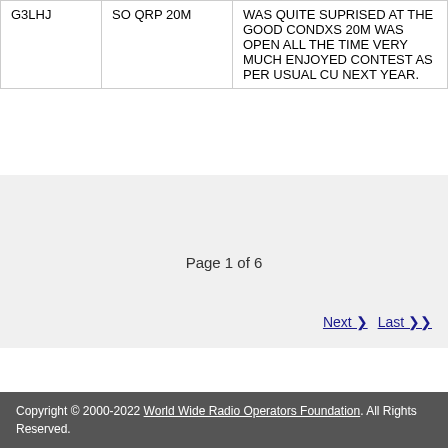| Callsign | Category | Comment |
| --- | --- | --- |
| G3LHJ | SO QRP 20M | WAS QUITE SUPRISED AT THE GOOD CONDXS 20M WAS OPEN ALL THE TIME VERY MUCH ENJOYED CONTEST AS PER USUAL CU NEXT YEAR. |
Page 1 of 6
Next ❯  Last ❯❯
Copyright © 2000-2022 World Wide Radio Operators Foundation. All Rights Reserved.